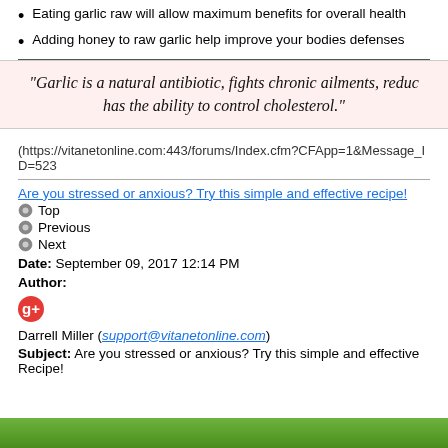Eating garlic raw will allow maximum benefits for overall health
Adding honey to raw garlic help improve your bodies defenses
"Garlic is a natural antibiotic, fights chronic ailments, reduc has the ability to control cholesterol."
(https://vitanetonline.com:443/forums/Index.cfm?CFApp=1&Message_ID=523
Are you stressed or anxious? Try this simple and effective recipe!
Top
Previous
Next
Date: September 09, 2017 12:14 PM
Author:
Darrell Miller (support@vitanetonline.com)
Subject: Are you stressed or anxious? Try this simple and effective Recipe!
[Figure (photo): Green nature/plant image at the bottom of the page]